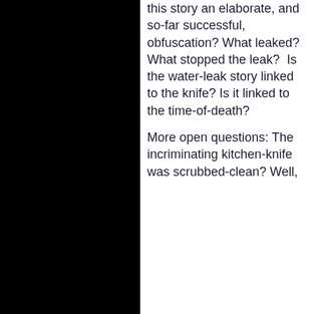this story an elaborate, and so-far successful, obfuscation? What leaked? What stopped the leak?  Is the water-leak story linked to the knife? Is it linked to the time-of-death?
More open questions: The incriminating kitchen-knife was scrubbed-clean? Well, ...